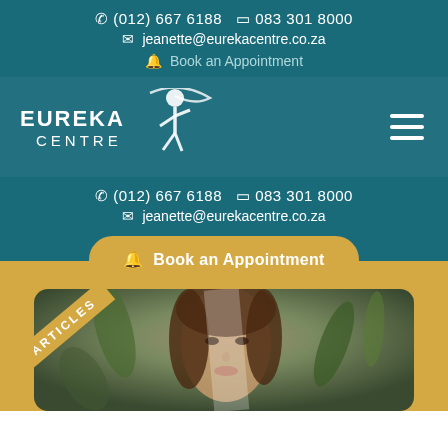(012) 667 6188  083 301 8000  jeanette@eurekacentre.co.za  Book an Appointment
[Figure (logo): Eureka Centre logo with stylized figure and text]
(012) 667 6188  083 301 8000  jeanette@eurekacentre.co.za  Book an Appointment
[Figure (photo): Young woman with brown hair among green leaves, with ARTICLES ribbon overlay]